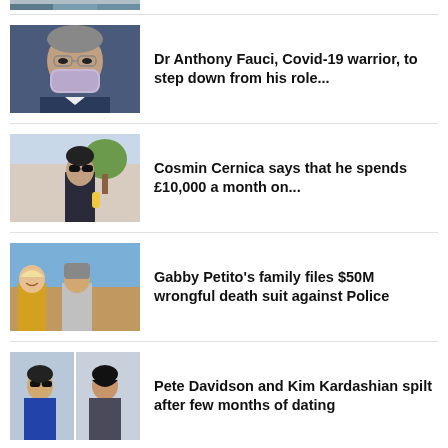[Figure (photo): Partial view of a person at the top of the page, cropped]
[Figure (photo): Dr Anthony Fauci wearing a face mask]
Dr Anthony Fauci, Covid-19 warrior, to step down from his role...
[Figure (photo): Man with sunglasses outdoors, Cosmin Cernica article photo]
Cosmin Cernica says that he spends £10,000 a month on...
[Figure (photo): Gabby Petito and Brian Laundrie photo]
Gabby Petito's family files $50M wrongful death suit against Police
[Figure (photo): Pete Davidson and Kim Kardashian photo]
Pete Davidson and Kim Kardashian spilt after few months of dating